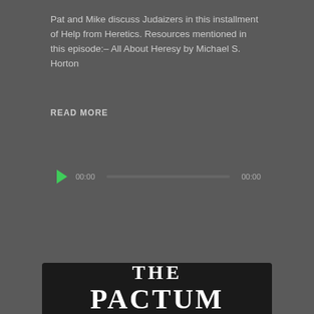Pat and Mike discuss Judaizers in this installment of Help from Heretics. Resources mentioned in this episode:– All About Heresy by Michael S. Horton
READ MORE
[Figure (other): Audio player widget with green play button, 00:00 start time, progress bar, and 00:00 end time on dark background]
THE PACTUM